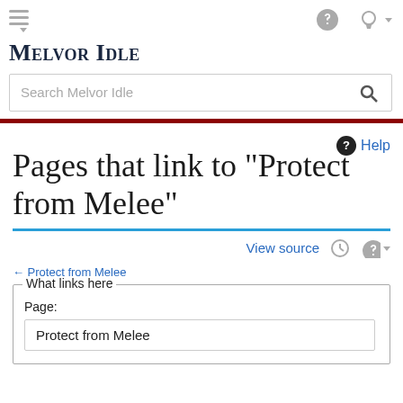Melvor Idle
Pages that link to "Protect from Melee"
Help
View source
← Protect from Melee
What links here
Page:
Protect from Melee